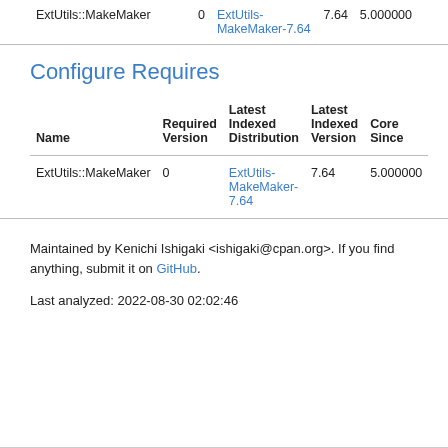| Name | Required Version | Latest Indexed Distribution | Latest Indexed Version | Core Since |
| --- | --- | --- | --- | --- |
| ExtUtils::MakeMaker | 0 | ExtUtils-MakeMaker-7.64 | 7.64 | 5.000000 |
Configure Requires
| Name | Required Version | Latest Indexed Distribution | Latest Indexed Version | Core Since |
| --- | --- | --- | --- | --- |
| ExtUtils::MakeMaker | 0 | ExtUtils-MakeMaker-7.64 | 7.64 | 5.000000 |
Maintained by Kenichi Ishigaki <ishigaki@cpan.org>. If you find anything, submit it on GitHub.
Last analyzed: 2022-08-30 02:02:46